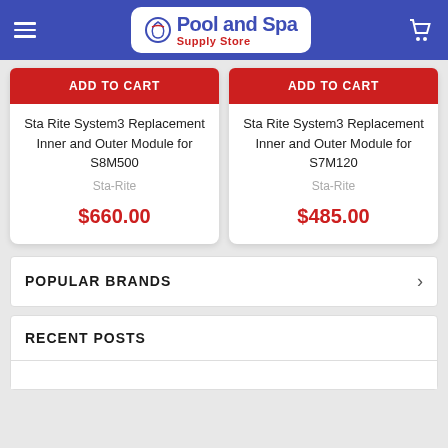[Figure (logo): Pool and Spa Supply Store logo with blue header navigation bar including hamburger menu and cart icon]
ADD TO CART
Sta Rite System3 Replacement Inner and Outer Module for S8M500
Sta-Rite
$660.00
ADD TO CART
Sta Rite System3 Replacement Inner and Outer Module for S7M120
Sta-Rite
$485.00
POPULAR BRANDS
RECENT POSTS